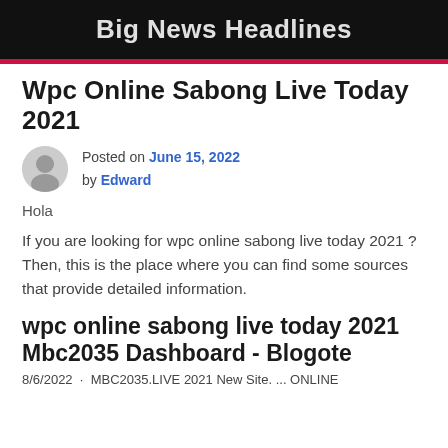Big News Headlines
Wpc Online Sabong Live Today 2021
Posted on June 15, 2022 by Edward
Hola
If you are looking for wpc online sabong live today 2021 ? Then, this is the place where you can find some sources that provide detailed information.
wpc online sabong live today 2021 Mbc2035 Dashboard - Blogote
8/6/2022 · MBC2035.LIVE 2021 New Site. ... ONLINE